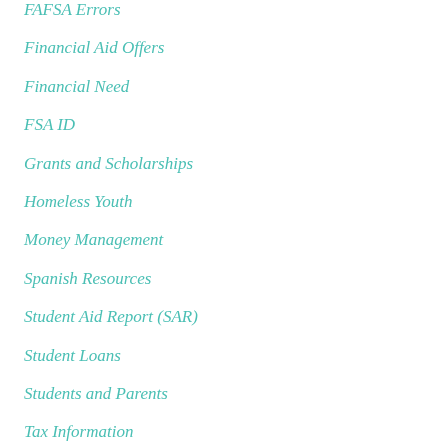FAFSA Errors
Financial Aid Offers
Financial Need
FSA ID
Grants and Scholarships
Homeless Youth
Money Management
Spanish Resources
Student Aid Report (SAR)
Student Loans
Students and Parents
Tax Information
Types of Financial Aid
UCanGo2 Resources